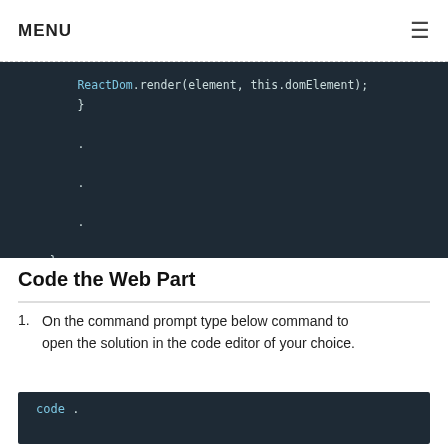MENU
[Figure (screenshot): Dark-themed code editor block showing ReactDom.render(element, this.domElement); with closing braces and dots]
Code the Web Part
1. On the command prompt type below command to open the solution in the code editor of your choice.
[Figure (screenshot): Dark-themed code editor block showing: code .]